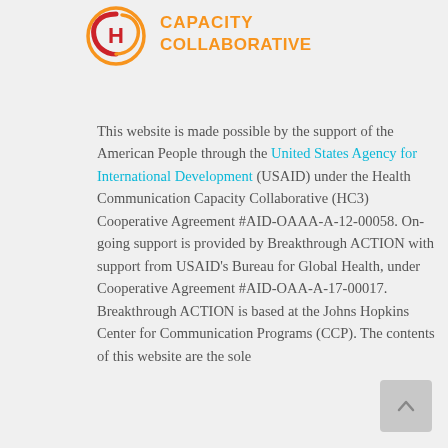[Figure (logo): HC3 Health Communication Capacity Collaborative logo — circular emblem with H in red and orange swirls, next to orange text 'CAPACITY COLLABORATIVE']
This website is made possible by the support of the American People through the United States Agency for International Development (USAID) under the Health Communication Capacity Collaborative (HC3) Cooperative Agreement #AID-OAAA-A-12-00058. On-going support is provided by Breakthrough ACTION with support from USAID's Bureau for Global Health, under Cooperative Agreement #AID-OAA-A-17-00017. Breakthrough ACTION is based at the Johns Hopkins Center for Communication Programs (CCP). The contents of this website are the sole